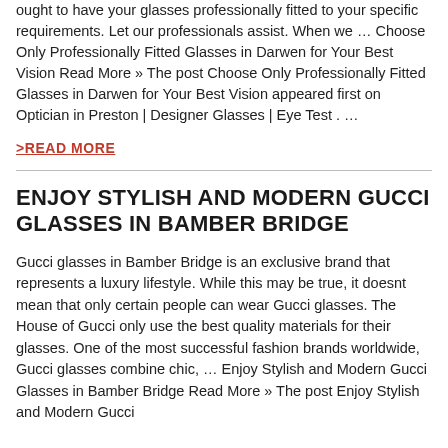ought to have your glasses professionally fitted to your specific requirements. Let our professionals assist. When we … Choose Only Professionally Fitted Glasses in Darwen for Your Best Vision Read More » The post Choose Only Professionally Fitted Glasses in Darwen for Your Best Vision appeared first on Optician in Preston | Designer Glasses | Eye Test . …
>READ MORE
ENJOY STYLISH AND MODERN GUCCI GLASSES IN BAMBER BRIDGE
Gucci glasses in Bamber Bridge is an exclusive brand that represents a luxury lifestyle. While this may be true, it doesnt mean that only certain people can wear Gucci glasses. The House of Gucci only use the best quality materials for their glasses. One of the most successful fashion brands worldwide, Gucci glasses combine chic, … Enjoy Stylish and Modern Gucci Glasses in Bamber Bridge Read More » The post Enjoy Stylish and Modern Gucci